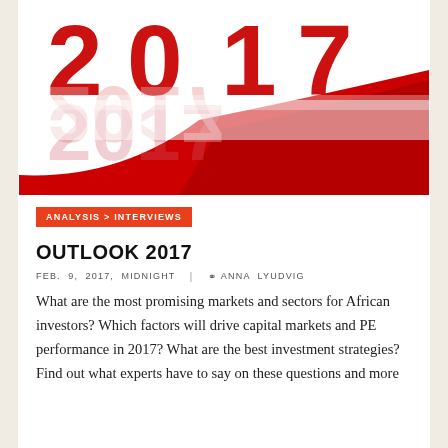[Figure (illustration): Large red 3D '2017' text with reflection on white background, a red swoosh/ribbon across the bottom]
ANALYSIS > INTERVIEWS
OUTLOOK 2017
FEB. 9, 2017, MIDNIGHT  |  ANNA LYUDVIG
What are the most promising markets and sectors for African investors? Which factors will drive capital markets and PE performance in 2017? What are the best investment strategies? Find out what experts have to say on these questions and more